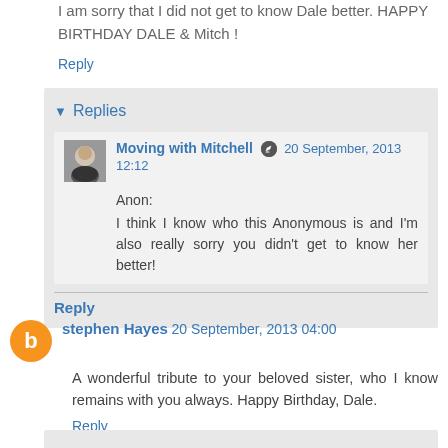I am sorry that I did not get to know Dale better. HAPPY BIRTHDAY DALE & Mitch !
Reply
Replies
Moving with Mitchell 20 September, 2013 12:12
Anon:
I think I know who this Anonymous is and I'm also really sorry you didn't get to know her better!
Reply
stephen Hayes 20 September, 2013 04:00
A wonderful tribute to your beloved sister, who I know remains with you always. Happy Birthday, Dale.
Reply